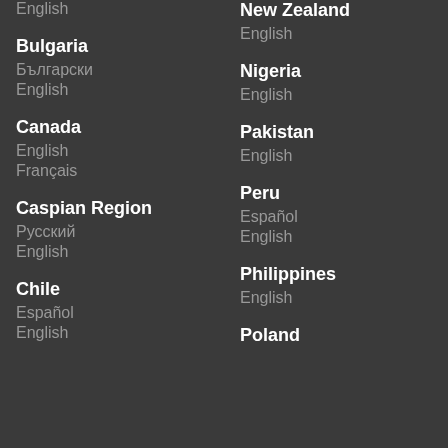English
Bulgaria
Български
English
Canada
English
Français
Caspian Region
Русский
English
Chile
Español
English
New Zealand
English
Nigeria
English
Pakistan
English
Peru
Español
English
Philippines
English
Poland